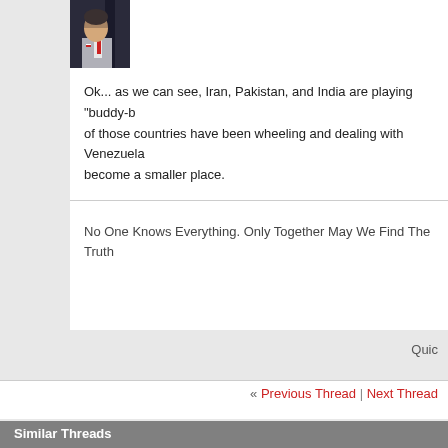[Figure (photo): Avatar photo of a man in a suit, partially visible, dark background]
Ok... as we can see, Iran, Pakistan, and India are playing "buddy-b... of those countries have been wheeling and dealing with Venezuela... become a smaller place.
No One Knows Everything. Only Together May We Find The Truth
Quic
« Previous Thread | Next Thread»
Similar Threads
Military Exercises - Video Inside
By Gold9472 in forum The New News
Military Exercises - Video Inside
By Gold9472 in forum 9/11 Justice Forum